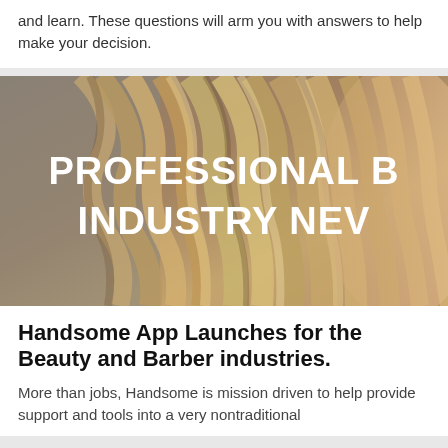and learn. These questions will arm you with answers to help make your decision.
[Figure (photo): Close-up photo of a woman's highlighted brown hair used as background image with overlaid white bold text reading 'PROFESSIONAL B[EAUTY] INDUSTRY NE[WS]']
Handsome App Launches for the Beauty and Barber industries.
More than jobs, Handsome is mission driven to help provide support and tools into a very nontraditional